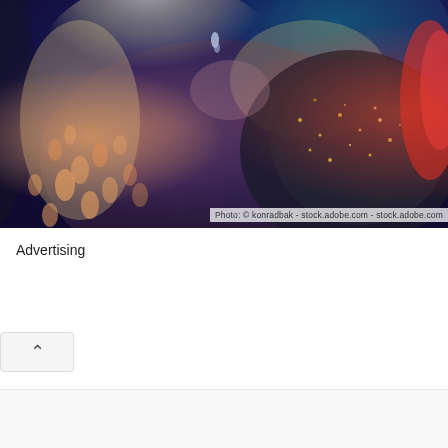[Figure (photo): A glamorous woman with blonde hair, wearing a sparkling dark glittery garment, photographed against a vivid blue fantasy background with bokeh light effects. Orange dappled light patterns appear on her skin. A red feathery element is visible at the right edge.]
Photo: © konradbak - stock.adobe.com - stock.adobe.com
Advertising